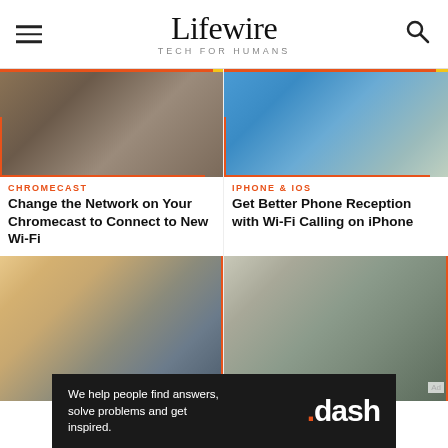Lifewire TECH FOR HUMANS
[Figure (photo): Person lying in bed using a phone]
CHROMECAST
Change the Network on Your Chromecast to Connect to New Wi-Fi
[Figure (photo): Person in blue shirt using a smartphone]
IPHONE & IOS
Get Better Phone Reception with Wi-Fi Calling on iPhone
[Figure (photo): Hands using a tablet with laptop in background]
[Figure (photo): Man sitting on couch using phone with TV on wall]
We help people find answers, solve problems and get inspired. .dash